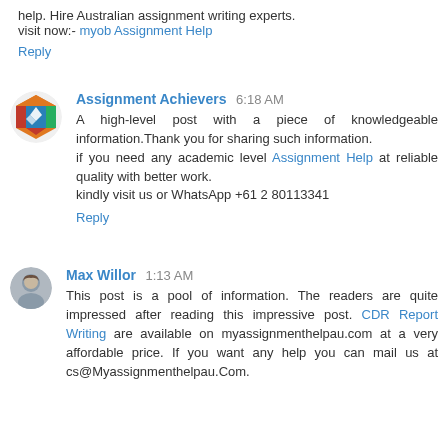help. Hire Australian assignment writing experts.
visit now:- myob Assignment Help
Reply
Assignment Achievers  6:18 AM
A high-level post with a piece of knowledgeable information.Thank you for sharing such information.
if you need any academic level Assignment Help at reliable quality with better work.
kindly visit us or WhatsApp +61 2 80113341
Reply
Max Willor  1:13 AM
This post is a pool of information. The readers are quite impressed after reading this impressive post. CDR Report Writing are available on myassignmenthelpau.com at a very affordable price. If you want any help you can mail us at cs@Myassignmenthelpau.Com.